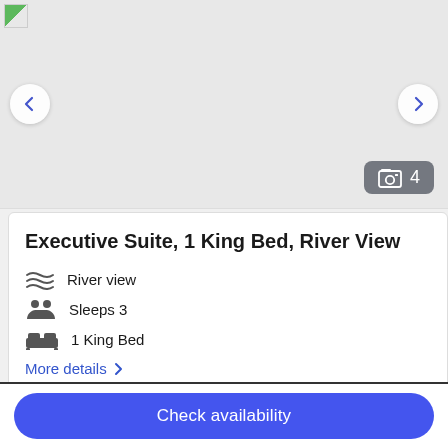[Figure (photo): Hotel room image carousel with left/right navigation arrows and a photo count badge showing 4 photos]
Executive Suite, 1 King Bed, River View
River view
Sleeps 3
1 King Bed
More details >
[Figure (photo): Partial second hotel room image card]
Check availability